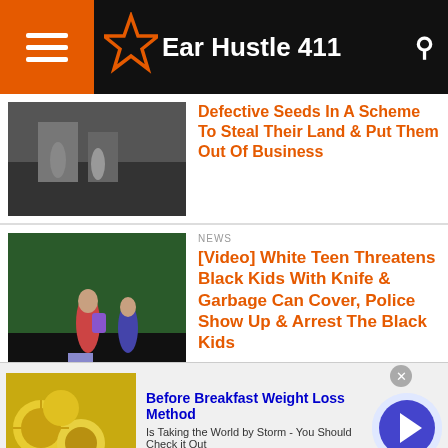Ear Hustle 411
Defective Seeds In A Scheme To Steal Their Land & Put Them Out Of Business
NEWS
[Video] White Teen Threatens Black Kids With Knife & Garbage Can Cover, Police Show Up & Arrest The Black Kids
NEWS
Florida: Arab Store Owners Commits The Largest Food Stamp Fraud In History, $20 Million In Fraud
Before Breakfast Weight Loss Method
Is Taking the World by Storm - You Should Check it Out
naturalhealthcures.net